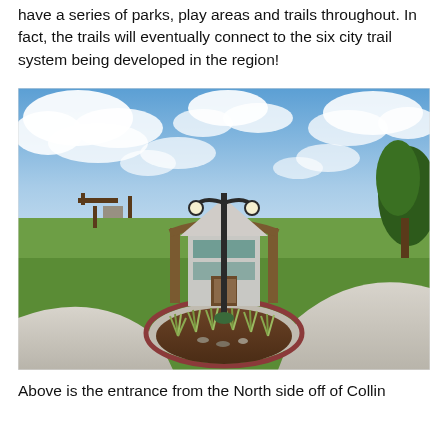have a series of parks, play areas and trails throughout. In fact, the trails will eventually connect to the six city trail system being developed in the region!
[Figure (photo): Photograph of a neighborhood entrance from the North side. A double-armed street lamp stands in the center of a roundabout median planted with ornamental grasses and mulch. A small building under construction with a gabled roof and wooden frame arches is visible in the background. A wide concrete driveway curves around the median. Green lawn, trees, and a blue sky with white clouds are visible in the background.]
Above is the entrance from the North side off of Collin